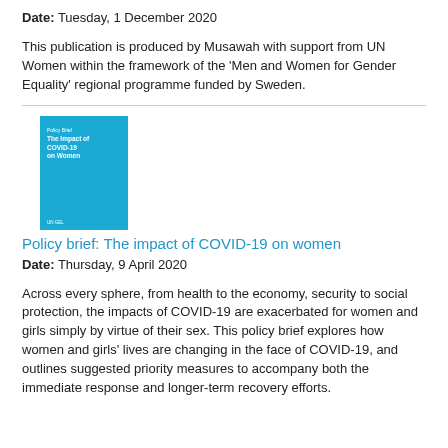Date: Tuesday, 1 December 2020
This publication is produced by Musawah with support from UN Women within the framework of the 'Men and Women for Gender Equality' regional programme funded by Sweden.
[Figure (photo): Cover image of a policy brief document with blue background titled 'Policy Brief: The Impact of COVID-19 on Women']
Policy brief: The impact of COVID-19 on women
Date: Thursday, 9 April 2020
Across every sphere, from health to the economy, security to social protection, the impacts of COVID-19 are exacerbated for women and girls simply by virtue of their sex. This policy brief explores how women and girls' lives are changing in the face of COVID-19, and outlines suggested priority measures to accompany both the immediate response and longer-term recovery efforts.